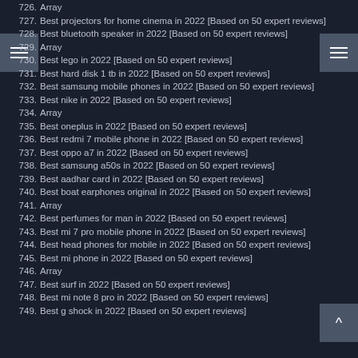726. Array
727. Best projectors for home cinema in 2022 [Based on 50 expert reviews]
728. Best bluetooth speaker in 2022 [Based on 50 expert reviews]
729. Array
730. Best lego in 2022 [Based on 50 expert reviews]
731. Best hard disk 1 tb in 2022 [Based on 50 expert reviews]
732. Best samsung mobile phones in 2022 [Based on 50 expert reviews]
733. Best nike in 2022 [Based on 50 expert reviews]
734. Array
735. Best oneplus in 2022 [Based on 50 expert reviews]
736. Best redmi 7 mobile phone in 2022 [Based on 50 expert reviews]
737. Best oppo a7 in 2022 [Based on 50 expert reviews]
738. Best samsung a50s in 2022 [Based on 50 expert reviews]
739. Best aadhar card in 2022 [Based on 50 expert reviews]
740. Best boat earphones original in 2022 [Based on 50 expert reviews]
741. Array
742. Best perfumes for man in 2022 [Based on 50 expert reviews]
743. Best mi 7 pro mobile phone in 2022 [Based on 50 expert reviews]
744. Best head phones for mobile in 2022 [Based on 50 expert reviews]
745. Best mi phone in 2022 [Based on 50 expert reviews]
746. Array
747. Best surf in 2022 [Based on 50 expert reviews]
748. Best mi note 8 pro in 2022 [Based on 50 expert reviews]
749. Best g shock in 2022 [Based on 50 expert reviews]